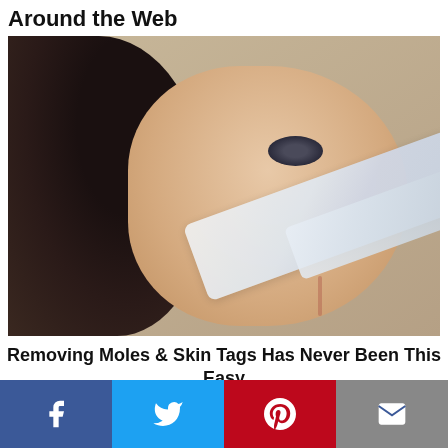Around the Web
[Figure (photo): Close-up photo of a woman with dark hair applying or holding a white bandage/strip on her nose, against a tan/beige background]
Removing Moles & Skin Tags Has Never Been This Easy
[Figure (photo): Partially visible photo below the caption (cropped)]
[Figure (infographic): Social sharing bar with four buttons: Facebook (blue), Twitter (light blue), Pinterest (red), Email (gray)]